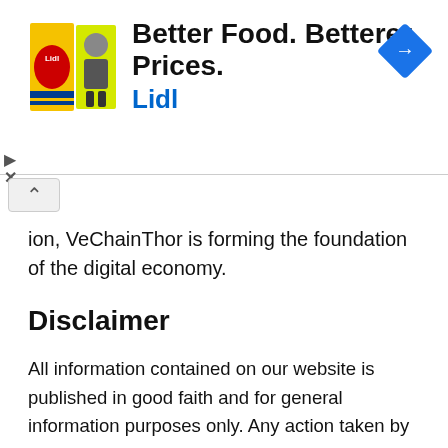[Figure (screenshot): Lidl advertisement banner: logo with yellow/green Lidl branding and a character, headline 'Better Food. Betterer Prices.' with 'Lidl' in blue, and a blue navigation/directions diamond icon on the right.]
ion, VeChainThor is forming the foundation of the digital economy.
Disclaimer
All information contained on our website is published in good faith and for general information purposes only. Any action taken by readers on information found on our website is strictly at their own risk.